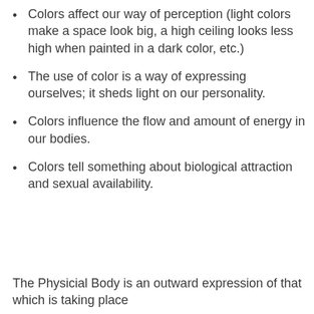Colors affect our way of perception (light colors make a space look big, a high ceiling looks less high when painted in a dark color, etc.)
The use of color is a way of expressing ourselves; it sheds light on our personality.
Colors influence the flow and amount of energy in our bodies.
Colors tell something about biological attraction and sexual availability.
The Physicial Body is an outward expression of that which is taking place